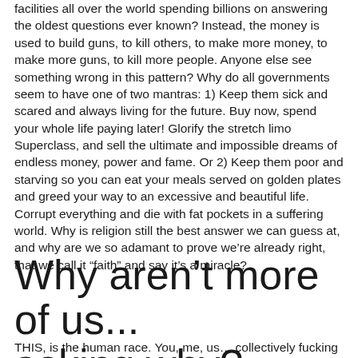facilities all over the world spending billions on answering the oldest questions ever known? Instead, the money is used to build guns, to kill others, to make more money, to make more guns, to kill more people. Anyone else see something wrong in this pattern? Why do all governments seem to have one of two mantras: 1) Keep them sick and scared and always living for the future. Buy now, spend your whole life paying later! Glorify the stretch limo Superclass, and sell the ultimate and impossible dreams of endless money, power and fame. Or 2) Keep them poor and starving so you can eat your meals served on golden plates and greed your way to an excessive and beautiful life. Corrupt everything and die with fat pockets in a suffering world. Why is religion still the best answer we can guess at, and why are we so adamant to prove we’re already right, that we call it “faith” and say it’s a miracle?
Why aren’t more of us... asking why?
THIS, is the human race. You, me, us… collectively fucking